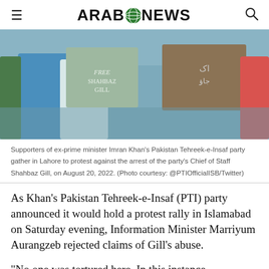ARAB NEWS
[Figure (photo): Protesters holding signs at a PTI demonstration in Lahore, with handwritten signs including 'Free Shahbaz Gill' in English and Urdu. People wearing colorful clothing including blue and pink.]
Supporters of ex-prime minister Imran Khan's Pakistan Tehreek-e-Insaf party gather in Lahore to protest against the arrest of the party's Chief of Staff Shahbaz Gill, on August 20, 2022. (Photo courtesy: @PTIOfficialISB/Twitter)
As Khan's Pakistan Tehreek-e-Insaf (PTI) party announced it would hold a protest rally in Islamabad on Saturday evening, Information Minister Marriyum Aurangzeb rejected claims of Gill's abuse.
“No one was tortured here. In this instance, propaganda was done,” she said during a press